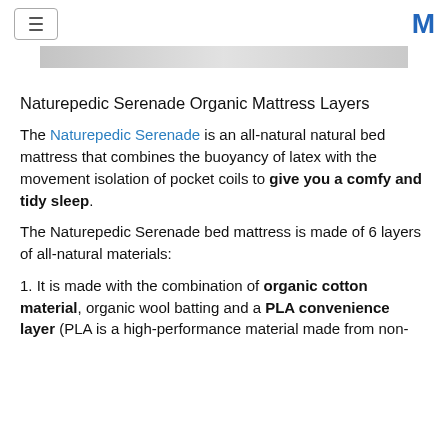[hamburger menu] [M logo]
[Figure (photo): Partial banner image of mattress layers, gray/light colored, cropped]
Naturepedic Serenade Organic Mattress Layers
The Naturepedic Serenade is an all-natural natural bed mattress that combines the buoyancy of latex with the movement isolation of pocket coils to give you a comfy and tidy sleep.
The Naturepedic Serenade bed mattress is made of 6 layers of all-natural materials:
1. It is made with the combination of organic cotton material, organic wool batting and a PLA convenience layer (PLA is a high-performance material made from non-